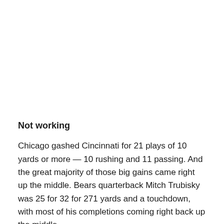Not working
Chicago gashed Cincinnati for 21 plays of 10 yards or more — 10 rushing and 11 passing. And the great majority of those big gains came right up the middle. Bears quarterback Mitch Trubisky was 25 for 32 for 271 yards and a touchdown, with most of his completions coming right back up the middle.